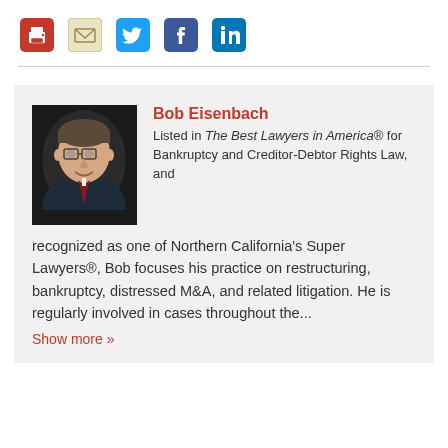[Figure (infographic): Social sharing icons: print (red printer), email (envelope), Twitter (blue bird), Facebook (dark blue f), LinkedIn (blue in)]
[Figure (photo): Headshot of Bob Eisenbach, a man wearing glasses and a dark suit with a red tie, against a dark background]
Bob Eisenbach
Listed in The Best Lawyers in America® for Bankruptcy and Creditor-Debtor Rights Law, and recognized as one of Northern California's Super Lawyers®, Bob focuses his practice on restructuring, bankruptcy, distressed M&A, and related litigation. He is regularly involved in cases throughout the...
Show more »